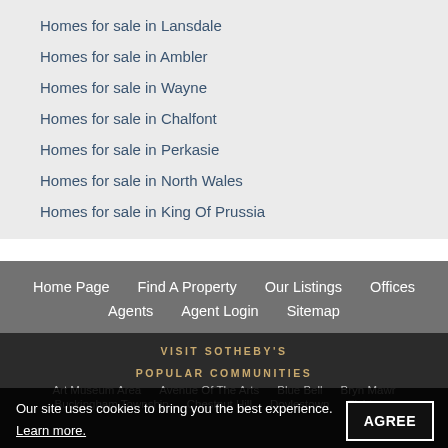Homes for sale in Lansdale
Homes for sale in Ambler
Homes for sale in Wayne
Homes for sale in Chalfont
Homes for sale in Perkasie
Homes for sale in North Wales
Homes for sale in King Of Prussia
Home Page | Find A Property | Our Listings | Offices | Agents | Agent Login | Sitemap
VISIT SOTHEBY'S
POPULAR COMMUNITIES
Art Museum Area | Avenue Of The Arts | Blue Bell | Bryn Mawr | Buckingham Township | Chestnut Hill | Doylestown | Fishtown
Our site uses cookies to bring you the best experience.
Learn more.